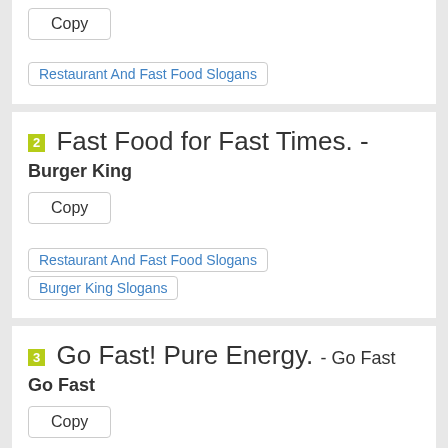Copy
Restaurant And Fast Food Slogans
2 Fast Food for Fast Times. - Burger King
Copy
Restaurant And Fast Food Slogans   Burger King Slogans
3 Go Fast! Pure Energy. - Go Fast
Copy